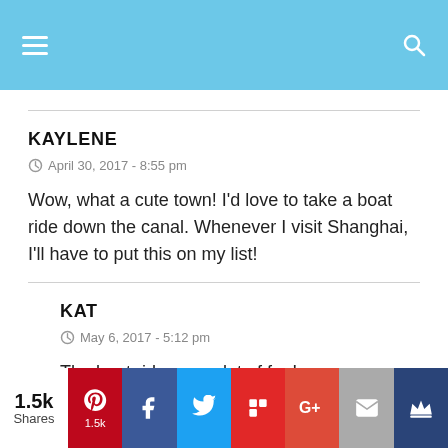Navigation header with hamburger menu and search icon
KAYLENE
April 30, 2017 - 8:55 pm
Wow, what a cute town! I'd love to take a boat ride down the canal. Whenever I visit Shanghai, I'll have to put this on my list!
KAT
May 6, 2017 - 5:12 pm
The boat ride was a lot of fun!
1.5k Shares — Pinterest 1.5k, Facebook, Twitter, Flipboard, Google+, Email, Kingdom